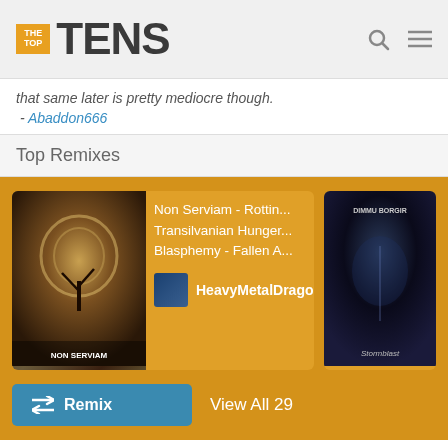THE TOP TENS
that same later is pretty mediocre though. - Abaddon666
Top Remixes
[Figure (other): Top Remixes section with two album art cards. First card shows 'Non Serviam' album art with tracks: Non Serviam - Rottin..., Transilvanian Hunger..., Blasphemy - Fallen A... by HeavyMetalDragon. Second card shows Dimmu Borgir Stormblast album art.]
Remix  View All 29
15  Nemesis Divina - Satyricon  Vote